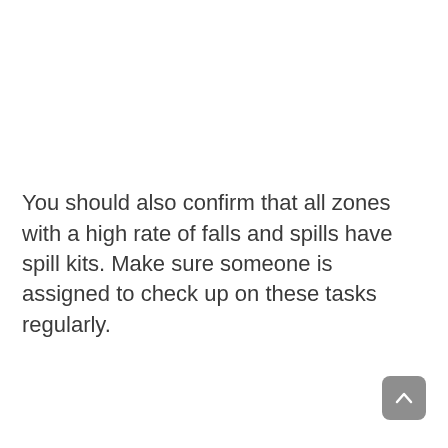You should also confirm that all zones with a high rate of falls and spills have spill kits. Make sure someone is assigned to check up on these tasks regularly.